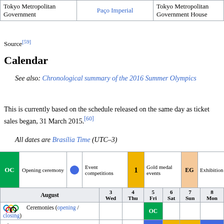| Tokyo Metropolitan Government | Paço Imperial | Tokyo Metropolitan Government House |
| --- | --- | --- |
| Tokyo Metropolitan Government | Paço Imperial | Tokyo Metropolitan Government House |
Source[59]
Calendar
See also: Chronological summary of the 2016 Summer Olympics
This is currently based on the schedule released on the same day as ticket sales began, 31 March 2015.[60]
All dates are Brasília Time (UTC–3)
[Figure (infographic): Legend for calendar: OC=Opening ceremony (green), bullet=Event competitions (blue), 1=Gold medal events (gold), EG=Exhibition gala (peach/orange), CC=Closing ceremony (red)]
| August | 3 Wed | 4 Thu | 5 Fri | 6 Sat | 7 Sun | 8 Mon |
| --- | --- | --- | --- | --- | --- | --- |
| [Olympic rings] Ceremonies (opening / closing) |  |  | OC |  |  |  |
| [Archery icon] Archery |  |  | • | 1 | 1 | • |
| [Athletics icon] Athletics |  |  |  |  |  |  |